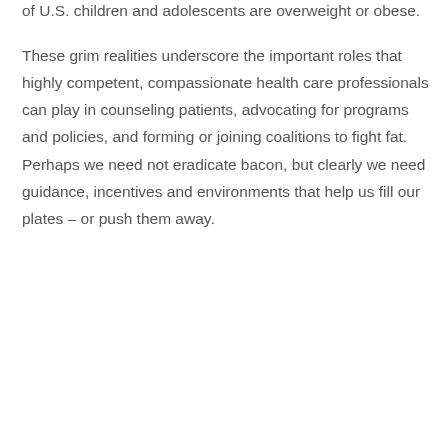of U.S. children and adolescents are overweight or obese.
These grim realities underscore the important roles that highly competent, compassionate health care professionals can play in counseling patients, advocating for programs and policies, and forming or joining coalitions to fight fat. Perhaps we need not eradicate bacon, but clearly we need guidance, incentives and environments that help us fill our plates – or push them away.